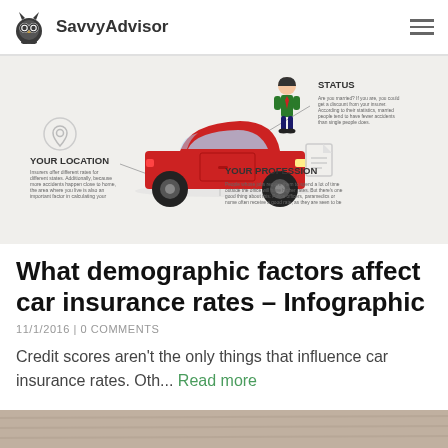SavvyAdvisor
[Figure (infographic): Infographic showing demographic factors affecting car insurance rates. Features a red car with a person standing next to it. Labels include 'STATUS' (top right), 'YOUR LOCATION' (bottom left with location pin icon), and 'YOUR PROFESSION' (bottom center-right with document icon). Each label has small descriptive text explaining how that factor influences insurance rates.]
What demographic factors affect car insurance rates – Infographic
11/1/2016 | 0 COMMENTS
Credit scores aren't the only things that influence car insurance rates. Oth... Read more